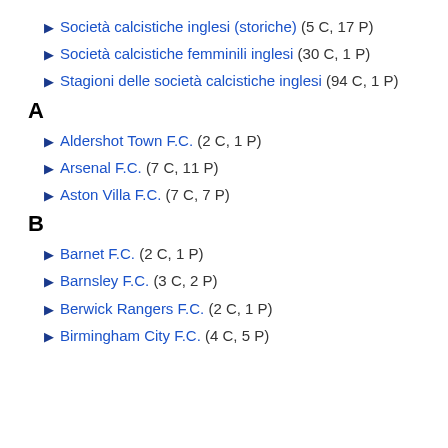▶ Società calcistiche inglesi (storiche) (5 C, 17 P)
▶ Società calcistiche femminili inglesi (30 C, 1 P)
▶ Stagioni delle società calcistiche inglesi (94 C, 1 P)
A
▶ Aldershot Town F.C. (2 C, 1 P)
▶ Arsenal F.C. (7 C, 11 P)
▶ Aston Villa F.C. (7 C, 7 P)
B
▶ Barnet F.C. (2 C, 1 P)
▶ Barnsley F.C. (3 C, 2 P)
▶ Berwick Rangers F.C. (2 C, 1 P)
▶ Birmingham City F.C. (4 C, 5 P)